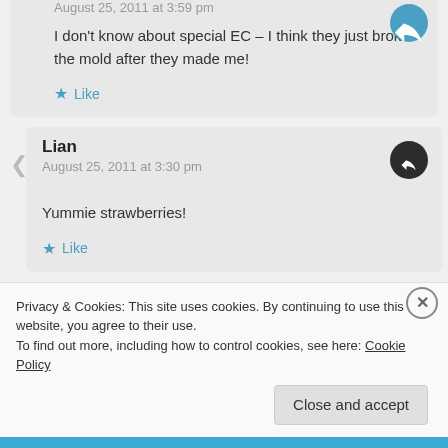August 25, 2011 at 3:59 pm
I don't know about special EC – I think they just broke the mold after they made me!
Like
Lian
August 25, 2011 at 3:30 pm
Yummie strawberries!
Like
Privacy & Cookies: This site uses cookies. By continuing to use this website, you agree to their use.
To find out more, including how to control cookies, see here: Cookie Policy
Close and accept